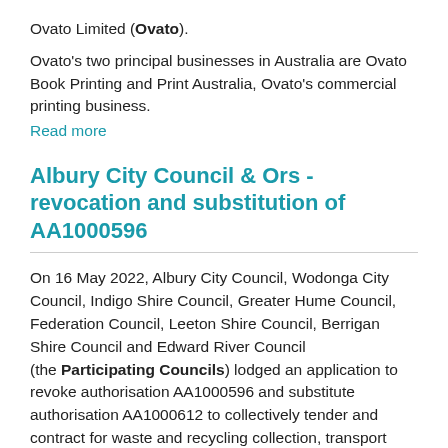Ovato Limited (Ovato).
Ovato's two principal businesses in Australia are Ovato Book Printing and Print Australia, Ovato's commercial printing business.
Read more
Albury City Council & Ors - revocation and substitution of AA1000596
On 16 May 2022, Albury City Council, Wodonga City Council, Indigo Shire Council, Greater Hume Council, Federation Council, Leeton Shire Council, Berrigan Shire Council and Edward River Council (the Participating Councils) lodged an application to revoke authorisation AA1000596 and substitute authorisation AA1000612 to collectively tender and contract for waste and recycling collection, transport